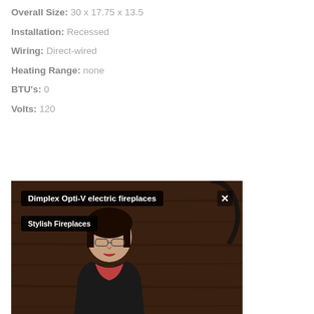Overall Size: 30 x 17.75 x 13.5
Installation: Recessed
Wiring: Direct-wired
Heating Range: none
BTU's: 0
Volts: 120
[Figure (photo): Photo of a person near a fireplace with overlay labels reading 'Dimplex Opti-V electric fireplaces' and 'Stylish Fireplaces']